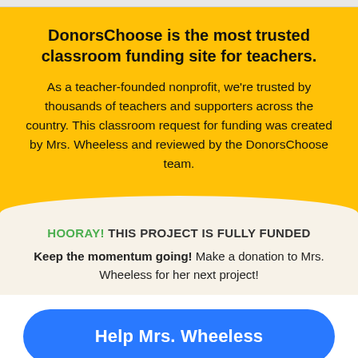DonorsChoose is the most trusted classroom funding site for teachers.
As a teacher-founded nonprofit, we're trusted by thousands of teachers and supporters across the country. This classroom request for funding was created by Mrs. Wheeless and reviewed by the DonorsChoose team.
HOORAY! THIS PROJECT IS FULLY FUNDED
Keep the momentum going! Make a donation to Mrs. Wheeless for her next project!
Help Mrs. Wheeless